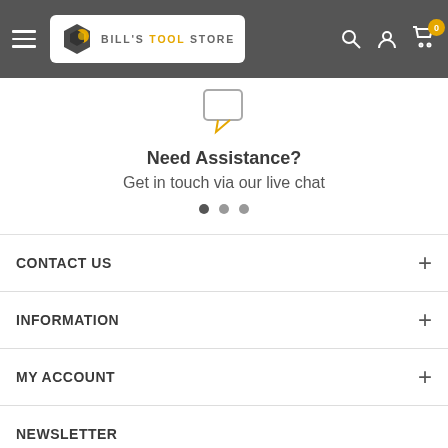Bill's Tool Store - header navigation
[Figure (illustration): Chat bubble icon in gray and yellow outline]
Need Assistance?
Get in touch via our live chat
[Figure (other): Carousel dot indicators - three dots]
CONTACT US
INFORMATION
MY ACCOUNT
NEWSLETTER